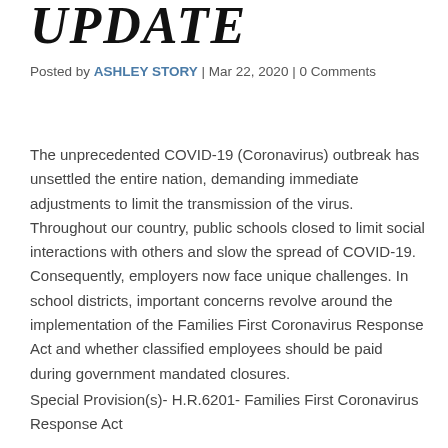UPDATE
Posted by ASHLEY STORY | Mar 22, 2020 | 0 Comments
The unprecedented COVID-19 (Coronavirus) outbreak has unsettled the entire nation, demanding immediate adjustments to limit the transmission of the virus. Throughout our country, public schools closed to limit social interactions with others and slow the spread of COVID-19. Consequently, employers now face unique challenges. In school districts, important concerns revolve around the implementation of the Families First Coronavirus Response Act and whether classified employees should be paid during government mandated closures.
Special Provision(s)- H.R.6201- Families First Coronavirus Response Act